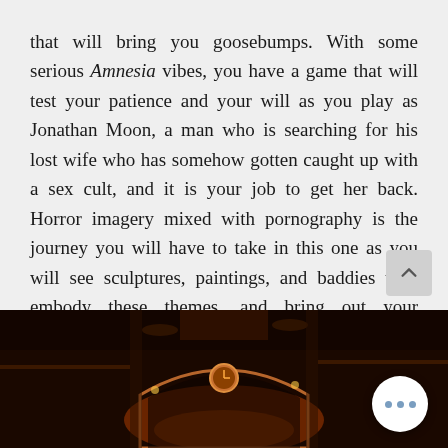that will bring you goosebumps. With some serious Amnesia vibes, you have a game that will test your patience and your will as you play as Jonathan Moon, a man who is searching for his lost wife who has somehow gotten caught up with a sex cult, and it is your job to get her back. Horror imagery mixed with pornography is the journey you will have to take in this one as you will see sculptures, paintings, and baddies who embody these themes, and bring out your innermost nightmares.
[Figure (photo): Dark atmospheric interior of an ornate gothic/baroque hall with chandeliers, an arch with a clock, and dramatic amber/red lighting suggesting a horror game environment]